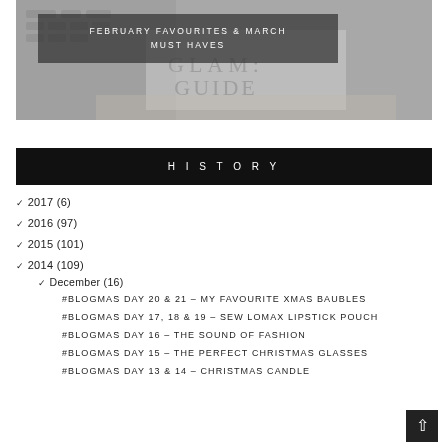[Figure (photo): Blog header photo showing a keyboard, papers, and a Glam Guide booklet in black and white, with a dark overlay containing the title text.]
FEBRUARY FAVOURITES & MARCH MUST HAVES
HISTORY
2017 (6)
2016 (97)
2015 (101)
2014 (109)
December (16)
#BLOGMAS DAY 20 & 21 – MY FAVOURITE XMAS BAUBLES
#BLOGMAS DAY 17, 18 & 19 – SEW LOMAX LIPSTICK POUCH
#BLOGMAS DAY 16 – THE SOUND OF FASHION
#BLOGMAS DAY 15 – THE PERFECT CHRISTMAS GLASSES
#BLOGMAS DAY 13 & 14 – CHRISTMAS CANDLE